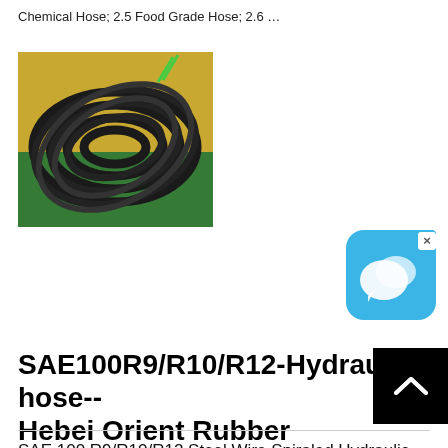Chemical Hose; 2.5 Food Grade Hose; 2.6 …
[Figure (photo): Coiled black rubber hydraulic hoses on a yellow and green background]
[Figure (screenshot): Blue chat/messaging app icon with white speech bubbles and an X close button in the top-right corner]
SAE100R9/R10/R12-Hydraulic hose-- Hebei Orient Rubber
SAE 100 R9/R10/R12 Steel Wire Spiraled Hydraulic Hose is suitable for delivering petroleum-based hydraulic oils and it is mainly used in high pressure working conditions. It is composed of three parts: tube, reinforcement and cover. The tube is made from black oil resistant